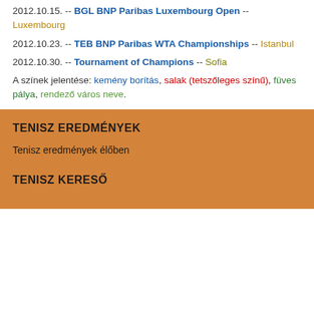2012.10.15. -- BGL BNP Paribas Luxembourg Open -- Luxembourg
2012.10.23. -- TEB BNP Paribas WTA Championships -- Istanbul
2012.10.30. -- Tournament of Champions -- Sofia
A színek jelentése: kemény borítás, salak (tetszőleges színű), füves pálya, rendező város neve.
TENISZ EREDMÉNYEK
Tenisz eredmények élőben
TENISZ KERESŐ